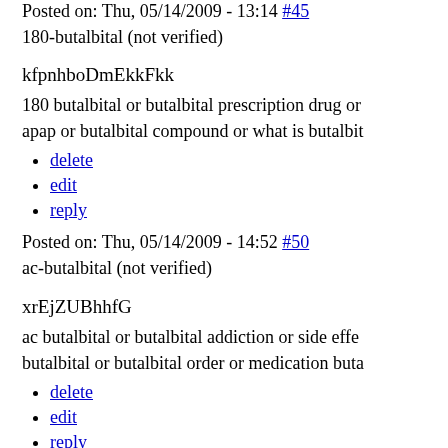Posted on: Thu, 05/14/2009 - 13:14 #45
180-butalbital (not verified)
kfpnhboDmEkkFkk
180 butalbital or butalbital prescription drug or apap or butalbital compound or what is butalbital
delete
edit
reply
Posted on: Thu, 05/14/2009 - 14:52 #50
ac-butalbital (not verified)
xrEjZUBhhfG
ac butalbital or butalbital addiction or side effects butalbital or butalbital order or medication butalbital
delete
edit
reply
1
2